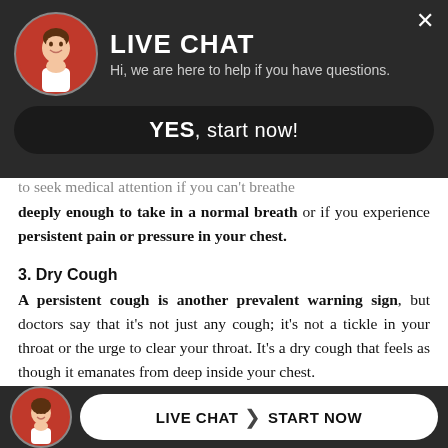[Figure (screenshot): Live chat overlay at top with avatar photo of a woman, title LIVE CHAT, subtitle text, and a YES start now button]
to seek medical attention if you can't breathe deeply enough to take in a normal breath or if you experience persistent pain or pressure in your chest.
3. Dry Cough
A persistent cough is another prevalent warning sign, but doctors say that it's not just any cough; it's not a tickle in your throat or the urge to clear your throat. It's a dry cough that feels as though it emanates from deep inside your chest.
4. Chills and body aches
It ma[y be] diffic[ult for those with chron...] d
[Figure (screenshot): Bottom live chat bar with avatar and LIVE CHAT > START NOW button]